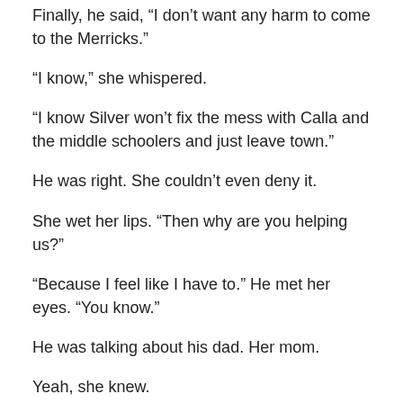Finally, he said, “I don’t want any harm to come to the Merricks.”
“I know,” she whispered.
“I know Silver won’t fix the mess with Calla and the middle schoolers and just leave town.”
He was right. She couldn’t even deny it.
She wet her lips. “Then why are you helping us?”
“Because I feel like I have to.” He met her eyes. “You know.”
He was talking about his dad. Her mom.
Yeah, she knew.
He took a deep breath and ran a hand through his hair.